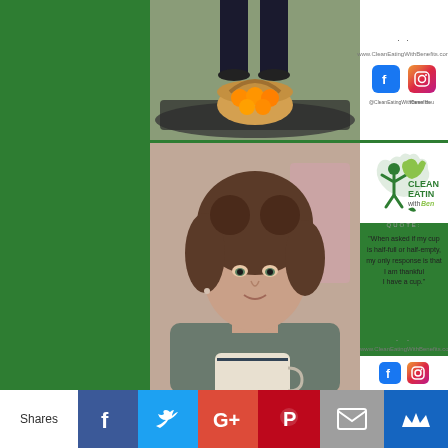[Figure (photo): Person holding a basket of oranges/tangerines, standing outdoors near coiled dark cables or pipes]
[Figure (infographic): Social media links panel with www.CleanEatingWithBenefits.com, Facebook icon (@CleanEatingWithBenefits), and Instagram icon (Karen Heu)]
[Figure (photo): Portrait photo of a curly-haired woman holding a large mug/cup]
[Figure (logo): Clean Eating with Benefits logo - green figure with apple, text CLEAN EATING with Bene]
QUOTE:
"When asked if my cup is half-full or half-empty, my only response is that I am thankful I have a cup."
www.CleanEatingWithBenefits.com
[Figure (infographic): Share bar with Facebook, Twitter, Google+, Pinterest, Email, and Crown icon buttons]
Shares